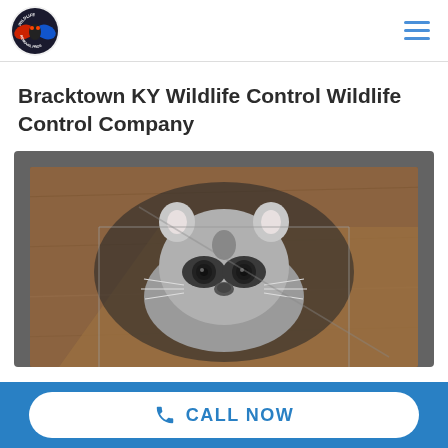Wildlife Removal Pros — navigation header with logo and hamburger menu
Bracktown KY Wildlife Control Wildlife Control Company
[Figure (photo): A raccoon peering out from inside a wooden structure or box trap, viewed from above. The raccoon has grey fur, distinctive black mask markings around its eyes, and rounded ears. The surrounding wood has a warm brown tone.]
CALL NOW